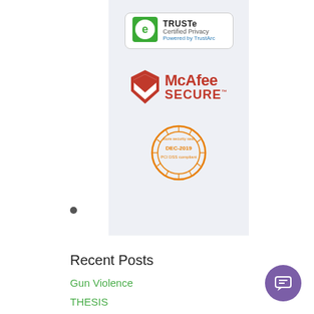[Figure (logo): TRUSTe Certified Privacy badge with green e-lock icon, powered by TrustArc]
[Figure (logo): McAfee SECURE badge with red shield icon]
[Figure (logo): PCI DSS Compliance badge - DEC-2019, orange circular seal]
Recent Posts
Gun Violence
THESIS